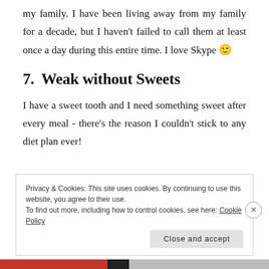my family. I have been living away from my family for a decade, but I haven't failed to call them at least once a day during this entire time. I love Skype 🙂
7.  Weak without Sweets
I have a sweet tooth and I need something sweet after every meal - there's the reason I couldn't stick to any diet plan ever!
Privacy & Cookies: This site uses cookies. By continuing to use this website, you agree to their use.
To find out more, including how to control cookies, see here: Cookie Policy
Close and accept